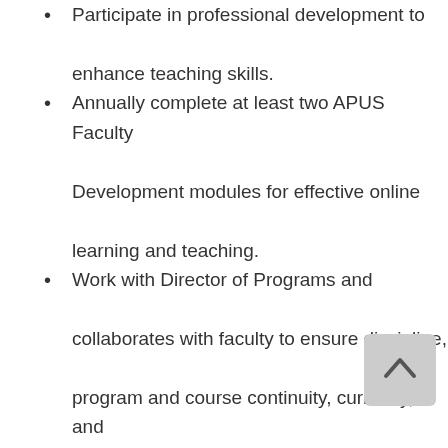Participate in professional development to enhance teaching skills.
Annually complete at least two APUS Faculty Development modules for effective online learning and teaching.
Work with Director of Programs and collaborates with faculty to ensure discipline, program and course continuity, currency, and relevance.
Define course objectives, review regularly, and revise as needed.